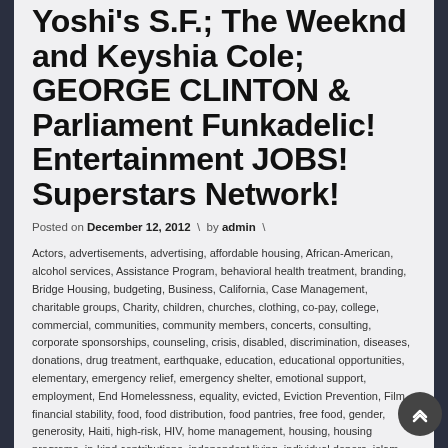Yoshi's S.F.; The Weeknd and Keyshia Cole; GEORGE CLINTON & Parliament Funkadelic! Entertainment JOBS! Superstars Network!
Posted on December 12, 2012 \ by admin \
Actors, advertisements, advertising, affordable housing, African-American, alcohol services, Assistance Program, behavioral health treatment, branding, Bridge Housing, budgeting, Business, California, Case Management, charitable groups, Charity, children, churches, clothing, co-pay, college, commercial, communities, community members, concerts, consulting, corporate sponsorships, counseling, crisis, disabled, discrimination, diseases, donations, drug treatment, earthquake, education, educational opportunities, elementary, emergency relief, emergency shelter, emotional support, employment, End Homelessness, equality, evicted, Eviction Prevention, Film, financial stability, food, food distribution, food pantries, free food, gender, generosity, Haiti, high-risk, HIV, home management, housing, housing programs, in-kind contributions, independent living, individual donors, islam, job preparation, legal aid, licensing, life skills, living on the streets, Loans, low-income, maintaining sobriety, management, marketing, media, medical aid, medical assistance, mental health services, merchandising, Minority, mortgage, mosques, Move-in funds, multi-cultural, multimedia, Music, muslims, national origin, nba, needy people, network news, nfl, non-denominational, non-profit, Northern, Outreach, parents, payments for rent, peer based, permanent housing, personal appearances, personal care, physical health services, Producers, product endorsements, publishing, Quality of life, re-entry, referrals, referrals, religious, Rental